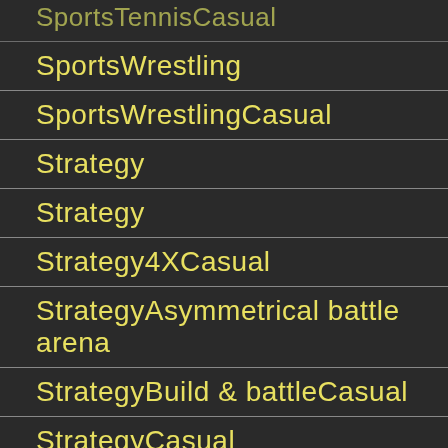SportsTennisCasual
SportsWrestling
SportsWrestlingCasual
Strategy
Strategy
Strategy4XCasual
StrategyAsymmetrical battle arena
StrategyBuild & battleCasual
StrategyCasual
StrategyTacticsCasual
StrategyTower defense
StrategyTower defenseCasual
StrategyWar...